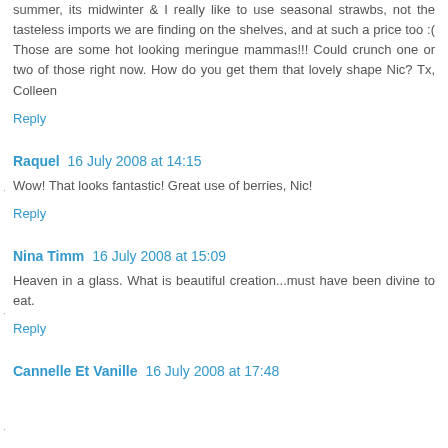summer, its midwinter & I really like to use seasonal strawbs, not the tasteless imports we are finding on the shelves, and at such a price too :( Those are some hot looking meringue mammas!!! Could crunch one or two of those right now. How do you get them that lovely shape Nic? Tx, Colleen
Reply
Raquel  16 July 2008 at 14:15
Wow! That looks fantastic! Great use of berries, Nic!
Reply
Nina Timm  16 July 2008 at 15:09
Heaven in a glass. What is beautiful creation...must have been divine to eat.
Reply
Cannelle Et Vanille  16 July 2008 at 17:48